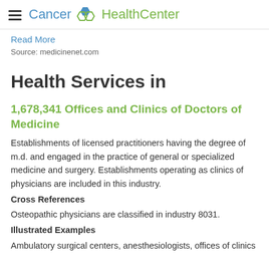Cancer HealthCenter
Read More
Source: medicinenet.com
Health Services in
1,678,341 Offices and Clinics of Doctors of Medicine
Establishments of licensed practitioners having the degree of m.d. and engaged in the practice of general or specialized medicine and surgery. Establishments operating as clinics of physicians are included in this industry.
Cross References
Osteopathic physicians are classified in industry 8031.
Illustrated Examples
Ambulatory surgical centers, anesthesiologists, offices of clinics